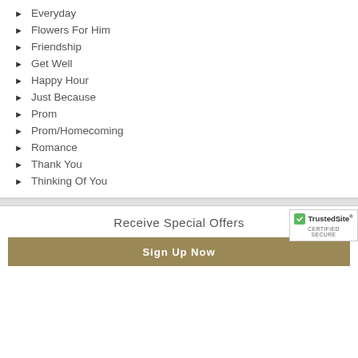Everyday
Flowers For Him
Friendship
Get Well
Happy Hour
Just Because
Prom
Prom/Homecoming
Romance
Thank You
Thinking Of You
Receive Special Offers
Sign Up Now
[Figure (logo): TrustedSite certified secure badge with green checkmark]